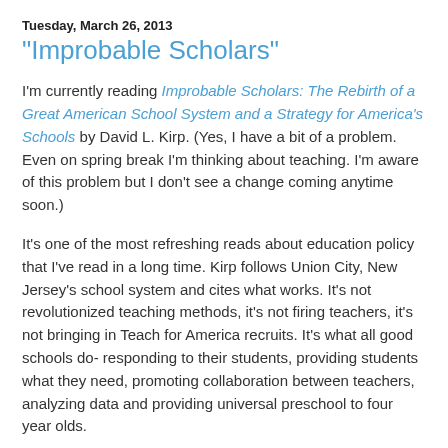Tuesday, March 26, 2013
"Improbable Scholars"
I'm currently reading Improbable Scholars: The Rebirth of a Great American School System and a Strategy for America's Schools by David L. Kirp. (Yes, I have a bit of a problem. Even on spring break I'm thinking about teaching. I'm aware of this problem but I don't see a change coming anytime soon.)
It's one of the most refreshing reads about education policy that I've read in a long time. Kirp follows Union City, New Jersey's school system and cites what works. It's not revolutionized teaching methods, it's not firing teachers, it's not bringing in Teach for America recruits. It's what all good schools do- responding to their students, providing students what they need, promoting collaboration between teachers, analyzing data and providing universal preschool to four year olds.
He writes of the time he spends in George Washington